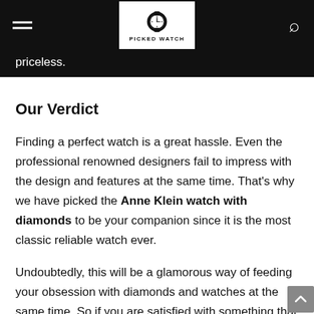Picked Watch
priceless.
Our Verdict
Finding a perfect watch is a great hassle. Even the professional renowned designers fail to impress with the design and features at the same time. That's why we have picked the Anne Klein watch with diamonds to be your companion since it is the most classic reliable watch ever.
Undoubtedly, this will be a glamorous way of feeding your obsession with diamonds and watches at the same time. So if you are satisfied with something that works, you can always change...